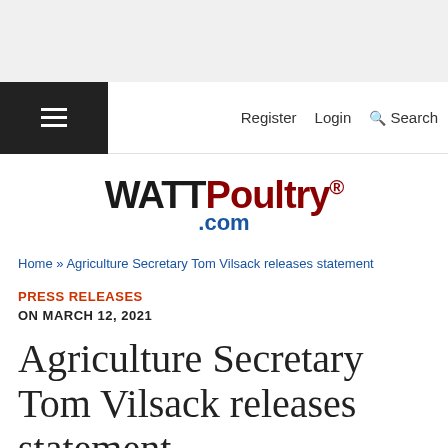Register  Login  Search
[Figure (logo): WATTPoultry.com logo with WATT in black bold, Poultry in dark red bold, and .com in blue below]
Home » Agriculture Secretary Tom Vilsack releases statement
PRESS RELEASES
ON MARCH 12, 2021
Agriculture Secretary Tom Vilsack releases statement